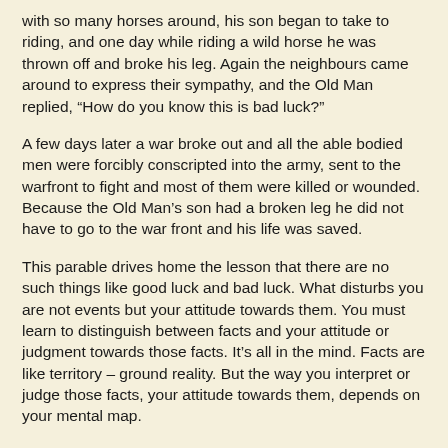with so many horses around, his son began to take to riding, and one day while riding a wild horse he was thrown off and broke his leg. Again the neighbours came around to express their sympathy, and the Old Man replied, “How do you know this is bad luck?”
A few days later a war broke out and all the able bodied men were forcibly conscripted into the army, sent to the warfront to fight and most of them were killed or wounded. Because the Old Man’s son had a broken leg he did not have to go to the war front and his life was saved.
This parable drives home the lesson that there are no such things like good luck and bad luck. What disturbs you are not events but your attitude towards them. You must learn to distinguish between facts and your attitude or judgment towards those facts. It’s all in the mind. Facts are like territory – ground reality. But the way you interpret or judge those facts, your attitude towards them, depends on your mental map.
This mental map is formed due to your values, beliefs and